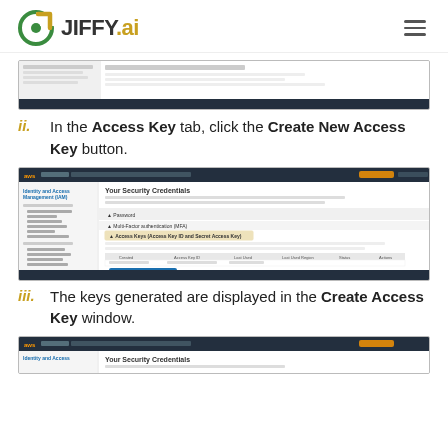JIFFY.ai
[Figure (screenshot): AWS Security Credentials page screenshot, partially shown, top portion]
In the Access Key tab, click the Create New Access Key button.
[Figure (screenshot): AWS Identity and Access Management (IAM) Your Security Credentials page, showing Access Keys section with Create New Access Key button highlighted]
The keys generated are displayed in the Create Access Key window.
[Figure (screenshot): AWS Your Security Credentials page, bottom portion showing Create Access Key window]